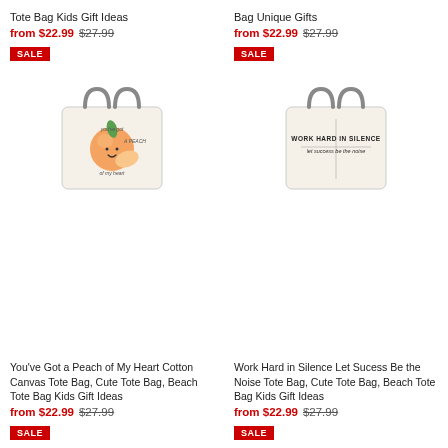Tote Bag Kids Gift Ideas
from $22.99  $27.99
SALE
[Figure (photo): White canvas tote bag with cute peach character illustration and text 'You've Got a Peach of My Heart']
You've Got a Peach of My Heart Cotton Canvas Tote Bag, Cute Tote Bag, Beach Tote Bag Kids Gift Ideas
from $22.99  $27.99
SALE
Bag Unique Gifts
from $22.99  $27.99
SALE
[Figure (photo): White canvas tote bag with text 'WORK HARD IN SILENCE let success be the noise']
Work Hard in Silence Let Sucess Be the Noise Tote Bag, Cute Tote Bag, Beach Tote Bag Kids Gift Ideas
from $22.99  $27.99
SALE